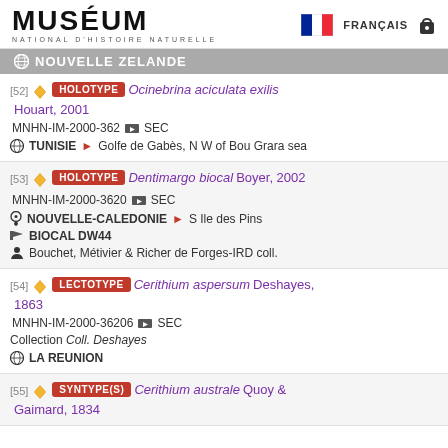MUSÉUM NATIONAL D'HISTOIRE NATURELLE | FRANÇAIS
NOUVELLE ZELANDE
[52] HOLOTYPE Ocinebrina aciculata exilis Houart, 2001 | MNHN-IM-2000-362 SEC | TUNISIE > Golfe de Gabès, N W of Bou Grara sea
[53] HOLOTYPE Dentimargo biocal Boyer, 2002 | MNHN-IM-2000-3620 SEC | NOUVELLE-CALEDONIE > S Ile des Pins | BIOCAL DW44 | Bouchet, Métivier & Richer de Forges-IRD coll.
[54] LECTOTYPE Cerithium aspersum Deshayes, 1863 | MNHN-IM-2000-36206 SEC | Collection Coll. Deshayes | LA REUNION
[55] SYNTYPE(S) Cerithium australe Quoy & Gaimard, 1834